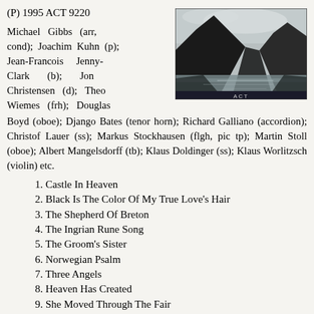(P) 1995 ACT 9220
[Figure (photo): Black and white photograph of a mountainous fjord landscape with dark rocky peaks and calm reflective water, with 'ACT' label at bottom center]
Michael Gibbs (arr, cond); Joachim Kuhn (p); Jean-Francois Jenny-Clark (b); Jon Christensen (d); Theo Wiemes (frh); Douglas Boyd (oboe); Django Bates (tenor horn); Richard Galliano (accordion); Christof Lauer (ss); Markus Stockhausen (flgh, pic tp); Martin Stoll (oboe); Albert Mangelsdorff (tb); Klaus Doldinger (ss); Klaus Worlitzsch (violin) etc.
1. Castle In Heaven
2. Black Is The Color Of My True Love's Hair
3. The Shepherd Of Breton
4. The Ingrian Rune Song
5. The Groom's Sister
6. Norwegian Psalm
7. Three Angels
8. Heaven Has Created
9. She Moved Through The Fair
10. Crebe De Chet
11. Midnight Sun
12. Londonderry Air